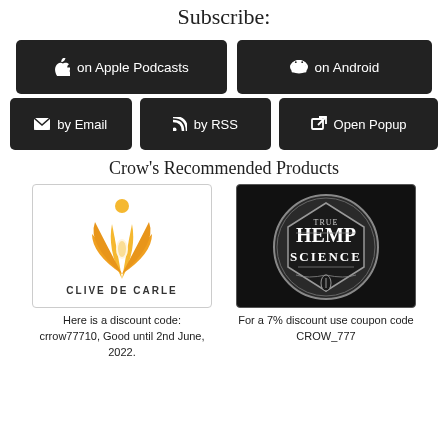Subscribe:
[Figure (infographic): Dark button: Apple icon, on Apple Podcasts]
[Figure (infographic): Dark button: Android icon, on Android]
[Figure (infographic): Dark button: Email icon, by Email]
[Figure (infographic): Dark button: RSS icon, by RSS]
[Figure (infographic): Dark button: Open Popup icon, Open Popup]
Crow's Recommended Products
[Figure (logo): Clive De Carle logo - orange lotus/person figure with text CLIVE DE CARLE]
Here is a discount code: crrow77710, Good until 2nd June, 2022.
[Figure (logo): True Hemp Science logo - circular emblem with text TRUE HEMP SCIENCE on dark background]
For a 7% discount use coupon code CROW_777